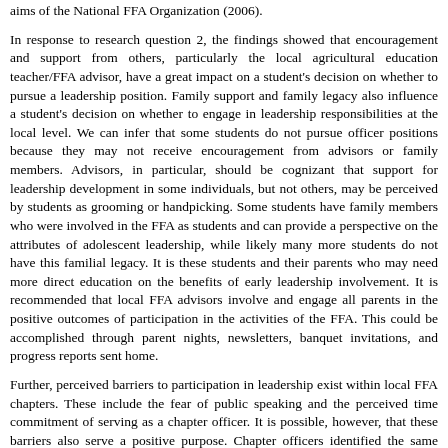aims of the National FFA Organization (2006).
In response to research question 2, the findings showed that encouragement and support from others, particularly the local agricultural education teacher/FFA advisor, have a great impact on a student's decision on whether to pursue a leadership position. Family support and family legacy also influence a student's decision on whether to engage in leadership responsibilities at the local level. We can infer that some students do not pursue officer positions because they may not receive encouragement from advisors or family members. Advisors, in particular, should be cognizant that support for leadership development in some individuals, but not others, may be perceived by students as grooming or handpicking. Some students have family members who were involved in the FFA as students and can provide a perspective on the attributes of adolescent leadership, while likely many more students do not have this familial legacy. It is these students and their parents who may need more direct education on the benefits of early leadership involvement. It is recommended that local FFA advisors involve and engage all parents in the positive outcomes of participation in the activities of the FFA. This could be accomplished through parent nights, newsletters, banquet invitations, and progress reports sent home.
Further, perceived barriers to participation in leadership exist within local FFA chapters. These include the fear of public speaking and the perceived time commitment of serving as a chapter officer. It is possible, however, that these barriers also serve a positive purpose. Chapter officers identified the same potential barriers as did members but were willing to overcome these obstacles out of their genuine desire to serve in a leadership position. Although school-based agricultural education curriculum seeks to give students exposure to public- speaking experiences, students still consider having to speak in front of others a